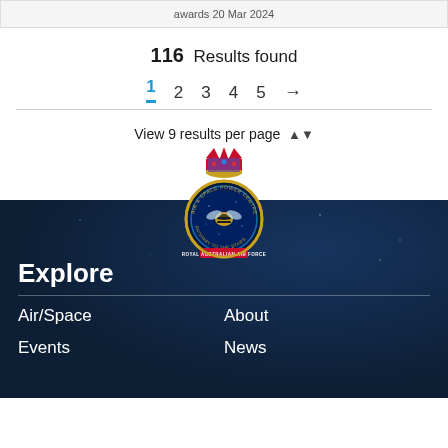awards 20 Mar 2024
116 Results found
1 2 3 4 5 →
View 9 results per page
[Figure (logo): Royal Australian Air Force Air & Space Power Centre badge/crest with crown, bee emblem, and 'Pathway to the Stars' text]
Explore
Air/Space
Events
About
News